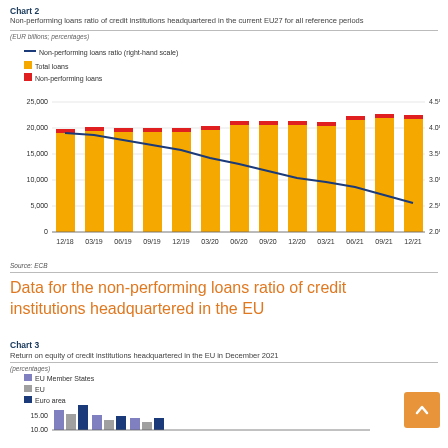Chart 2
Non-performing loans ratio of credit institutions headquartered in the current EU27 for all reference periods
(EUR billions; percentages)
[Figure (bar-chart): Non-performing loans ratio of credit institutions headquartered in the current EU27 for all reference periods]
Source: ECB
Data for the non-performing loans ratio of credit institutions headquartered in the EU
Chart 3
Return on equity of credit institutions headquartered in the EU in December 2021
(percentages)
[Figure (bar-chart): Return on equity of credit institutions headquartered in the EU in December 2021]